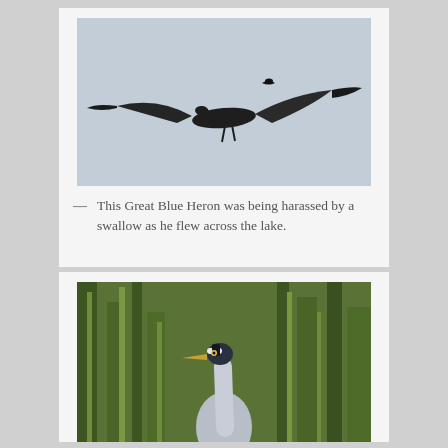[Figure (photo): A Great Blue Heron in flight against a light gray sky, with a small swallow harassing it from above]
— This Great Blue Heron was being harassed by a swallow as he flew across the lake.
[Figure (photo): A Great Blue Heron standing in tall green marsh reeds, close-up portrait showing the bird's head, neck, and upper body]